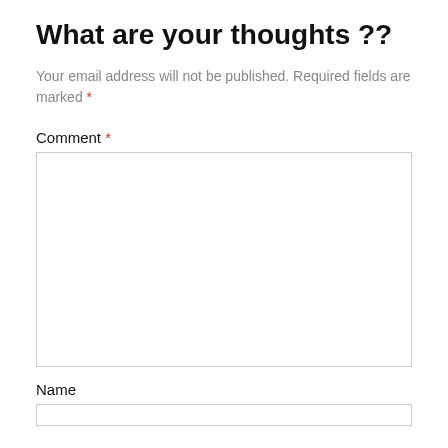What are your thoughts ??
Your email address will not be published. Required fields are marked *
Comment *
[Figure (other): Large empty comment text area input box with resize handle]
Name
[Figure (other): Single-line name text input field]